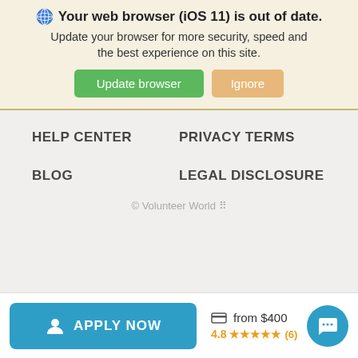Your web browser (iOS 11) is out of date. Update your browser for more security, speed and the best experience on this site.
Update browser
Ignore
HELP CENTER
PRIVACY TERMS
BLOG
LEGAL DISCLOSURE
© Volunteer World ⠿
APPLY NOW
from $400
4.8 ★★★★★ (6)